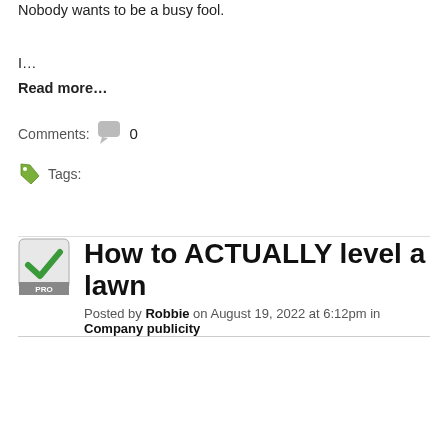Nobody wants to be a busy fool.
I…
Read more…
Comments: 0
Tags:
How to ACTUALLY level a lawn
Posted by Robbie on August 19, 2022 at 6:12pm in Company publicity